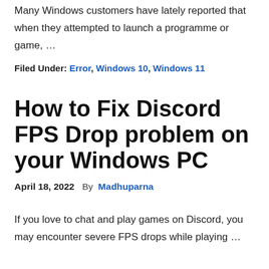Many Windows customers have lately reported that when they attempted to launch a programme or game, …
Filed Under: Error, Windows 10, Windows 11
How to Fix Discord FPS Drop problem on your Windows PC
April 18, 2022  By  Madhuparna
If you love to chat and play games on Discord, you may encounter severe FPS drops while playing …